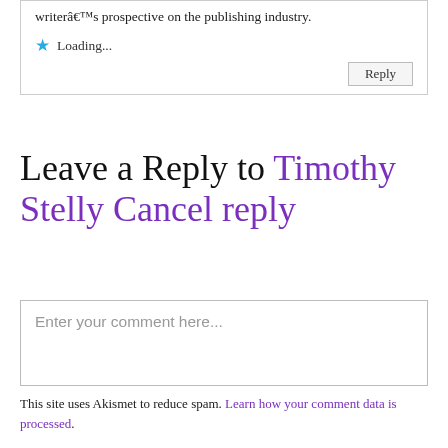writerâ€™s prospective on the publishing industry.
★ Loading...
Reply
Leave a Reply to Timothy Stelly Cancel reply
Enter your comment here...
This site uses Akismet to reduce spam. Learn how your comment data is processed.
Subscribe to Blog via Email
Enter your email address to subscribe to this blog and receive notifications of new posts by email.